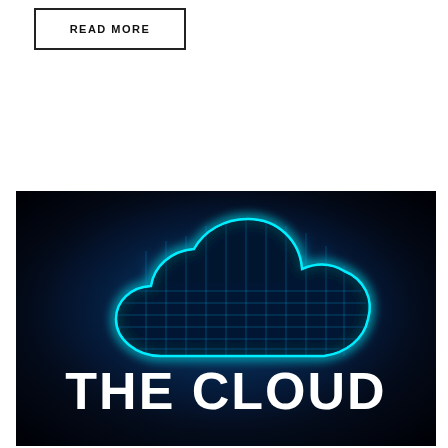READ MORE
[Figure (illustration): A dark background image with a glowing blue circuit-patterned cloud shape and bold white text reading 'THE CLOUD']